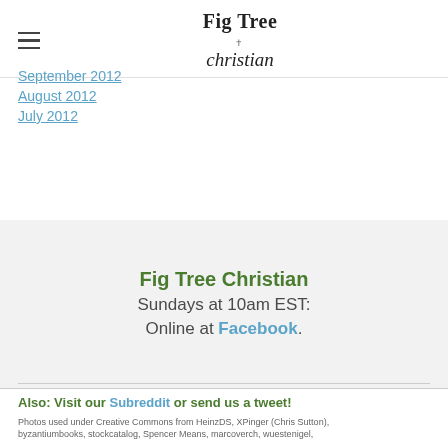Fig Tree Christian
September 2012
August 2012
July 2012
Fig Tree Christian
Sundays at 10am EST:
Online at Facebook.
Also: Visit our Subreddit or send us a tweet!
Photos used under Creative Commons from HeinzDS, XPinger (Chris Sutton), byzantiumbooks, stockcatalog, Spencer Means, marcoverch, wuestenigel,